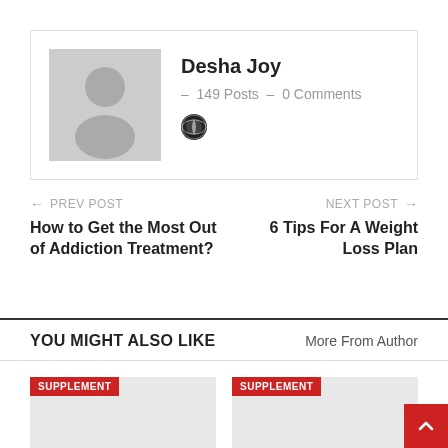[Figure (photo): Author profile card with gray avatar placeholder, name Desha Joy, post and comment counts, and a globe icon]
Desha Joy – 149 Posts – 0 Comments
← PREV POST
How to Get the Most Out of Addiction Treatment?
NEXT POST →
6 Tips For A Weight Loss Plan
YOU MIGHT ALSO LIKE
More From Author
[Figure (illustration): Card with SUPPLEMENT badge, gray image placeholder]
[Figure (illustration): Card with SUPPLEMENT badge, gray image placeholder]